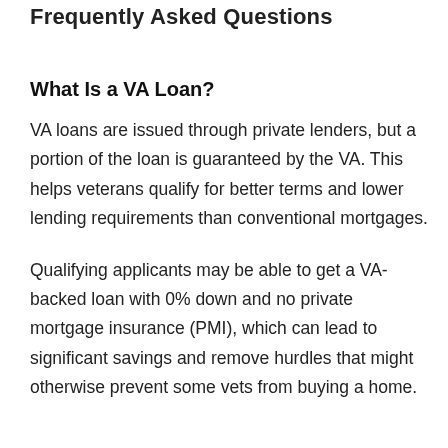Frequently Asked Questions
What Is a VA Loan?
VA loans are issued through private lenders, but a portion of the loan is guaranteed by the VA. This helps veterans qualify for better terms and lower lending requirements than conventional mortgages.
Qualifying applicants may be able to get a VA-backed loan with 0% down and no private mortgage insurance (PMI), which can lead to significant savings and remove hurdles that might otherwise prevent some vets from buying a home.